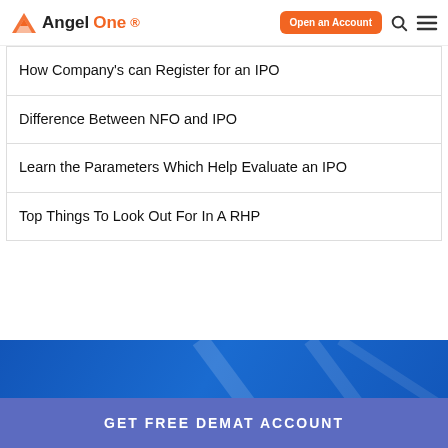AngelOne — Open an Account
How Company's can Register for an IPO
Difference Between NFO and IPO
Learn the Parameters Which Help Evaluate an IPO
Top Things To Look Out For In A RHP
GET FREE DEMAT ACCOUNT